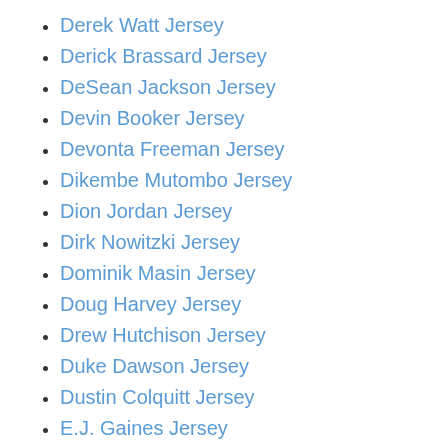Derek Watt Jersey
Derick Brassard Jersey
DeSean Jackson Jersey
Devin Booker Jersey
Devonta Freeman Jersey
Dikembe Mutombo Jersey
Dion Jordan Jersey
Dirk Nowitzki Jersey
Dominik Masin Jersey
Doug Harvey Jersey
Drew Hutchison Jersey
Duke Dawson Jersey
Dustin Colquitt Jersey
E.J. Gaines Jersey
Eddie Vanderdoes Jersey
Edgar Martinez Jersey
Eric Fehr Jersey
Eric Hosmer Jersey
Fernando Tatis Jr. Jersey
Fozzy Whittaker Jersey